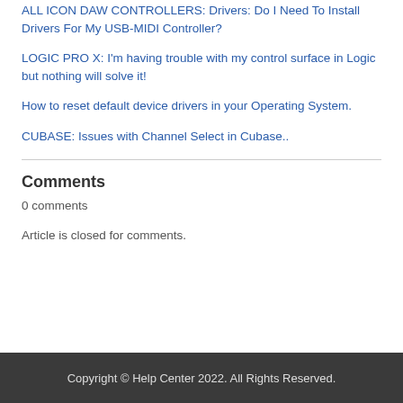ALL ICON DAW CONTROLLERS: Drivers: Do I Need To Install Drivers For My USB-MIDI Controller?
LOGIC PRO X: I'm having trouble with my control surface in Logic but nothing will solve it!
How to reset default device drivers in your Operating System.
CUBASE: Issues with Channel Select in Cubase..
Comments
0 comments
Article is closed for comments.
Copyright © Help Center 2022. All Rights Reserved.